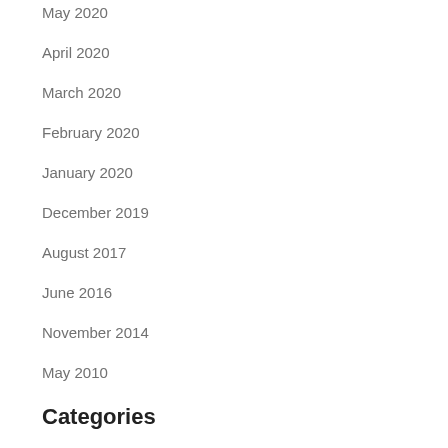May 2020
April 2020
March 2020
February 2020
January 2020
December 2019
August 2017
June 2016
November 2014
May 2010
Categories
! Без рубрики
$100 payday loan
$255 payday loans online
$400 payday loan